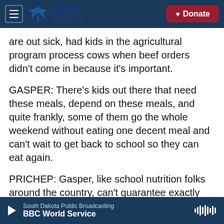SDPB South Dakota Public Broadcasting | Donate
are out sick, had kids in the agricultural program process cows when beef orders didn't come in because it's important.
GASPER: There's kids out there that need these meals, depend on these meals, and quite frankly, some of them go the whole weekend without eating one decent meal and can't wait to get back to school so they can eat again.
PRICHEP: Gasper, like school nutrition folks around the country, can't guarantee exactly what these kids might be eating next week, but a few things
South Dakota Public Broadcasting | BBC World Service